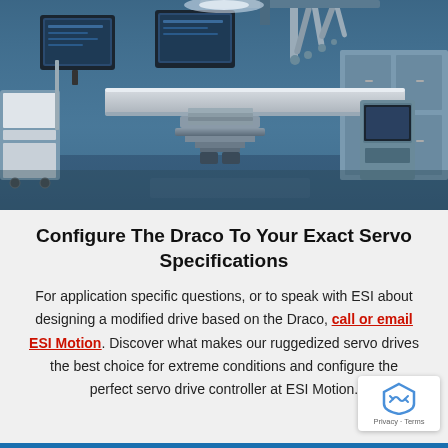[Figure (photo): Medical operating room with a robotic surgical system, an operating table, robotic arms overhead, monitors, medical cabinets, and surgical equipment in a blue-tinted clinical environment.]
Configure The Draco To Your Exact Servo Specifications
For application specific questions, or to speak with ESI about designing a modified drive based on the Draco, call or email ESI Motion. Discover what makes our ruggedized servo drives the best choice for extreme conditions and configure the perfect servo drive controller at ESI Motion.